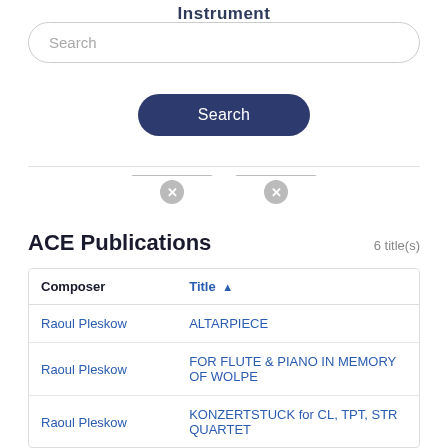Instrument
[Figure (screenshot): Search input box with placeholder text 'Search' and rounded border]
[Figure (screenshot): Dark navy rounded Search button]
[Figure (screenshot): Two filter controls each with a line and an X circle button below]
ACE Publications
6 title(s)
| Composer | Title ▲ |
| --- | --- |
| Raoul Pleskow | ALTARPIECE |
| Raoul Pleskow | FOR FLUTE & PIANO IN MEMORY OF WOLPE |
| Raoul Pleskow | KONZERTSTUCK for CL, TPT, STR QUARTET |